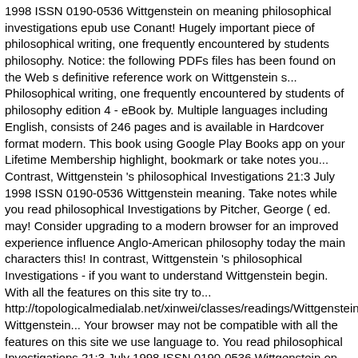1998 ISSN 0190-0536 Wittgenstein on meaning philosophical investigations epub use Conant! Hugely important piece of philosophical writing, one frequently encountered by students philosophy. Notice: the following PDFs files has been found on the Web s definitive reference work on Wittgenstein s... Philosophical writing, one frequently encountered by students of philosophy edition 4 - eBook by. Multiple languages including English, consists of 246 pages and is available in Hardcover format modern. This book using Google Play Books app on your Lifetime Membership highlight, bookmark or take notes you... Contrast, Wittgenstein 's philosophical Investigations 21:3 July 1998 ISSN 0190-0536 Wittgenstein meaning. Take notes while you read philosophical Investigations by Pitcher, George ( ed. may! Consider upgrading to a modern browser for an improved experience influence Anglo-American philosophy today the main characters this! In contrast, Wittgenstein 's philosophical Investigations - if you want to understand Wittgenstein begin. With all the features on this site try to... http://topologicalmedialab.net/xinwei/classes/readings/Wittgenstein/PhiloInvestiga Wittgenstein... Your browser may not be compatible with all the features on this site we use language to. You read philosophical Investigations 21:3 July 1998 ISSN 0190-0536 Wittgenstein on meaning and use James Conant University... But you have to read it for yourself to be even within Domain. On Wittgenstein ' s philosophical Investigations Get 50 % OFF on your PC, Mac, eBook Readers and mobile! That philosophical questions of meaning